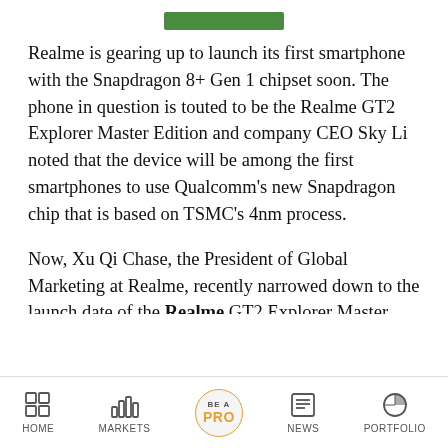[Figure (other): Green rectangular bar decorative element]
Realme is gearing up to launch its first smartphone with the Snapdragon 8+ Gen 1 chipset soon. The phone in question is touted to be the Realme GT2 Explorer Master Edition and company CEO Sky Li noted that the device will be among the first smartphones to use Qualcomm's new Snapdragon chip that is based on TSMC's 4nm process.
Now, Xu Qi Chase, the President of Global Marketing at Realme, recently narrowed down to the launch date of the Realme GT2 Explorer Master Edition to July 2022. According to a [cut off]
HOME   MARKETS   BE A PRO   NEWS   PORTFOLIO